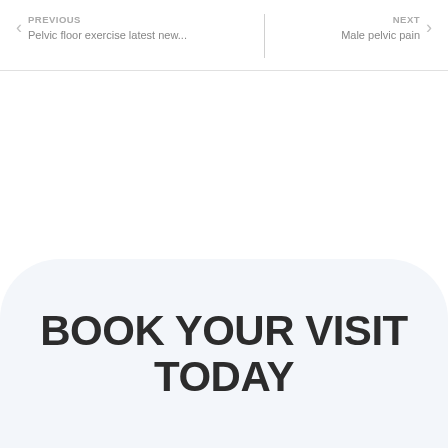PREVIOUS
Pelvic floor exercise latest new...
NEXT
Male pelvic pain
BOOK YOUR VISIT TODAY